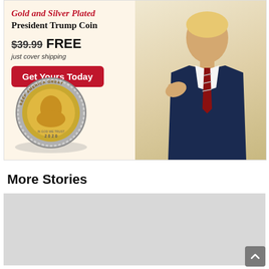[Figure (infographic): Advertisement for Gold and Silver Plated President Trump Coin showing a coin with Trump profile and 'Keep America Great 2020' text, alongside a photo of Donald Trump in a suit pointing, on a cream/tan background. Price shown as $39.99 crossed out FREE, just cover shipping, with a red 'Get Yours Today' button.]
More Stories
[Figure (other): Gray placeholder rectangle for a story thumbnail/image below the More Stories heading.]